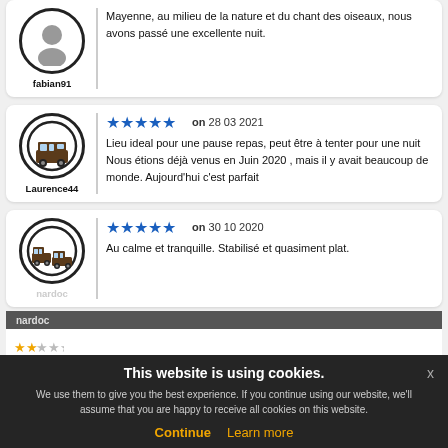fabian91 — Mayenne, au milieu de la nature et du chant des oiseaux, nous avons passé une excellente nuit.
Laurence44 — ★★★★★ on 28 03 2021 — Lieu ideal pour une pause repas, peut être à tenter pour une nuit Nous étions déjà venus en Juin 2020 , mais il y avait beaucoup de monde. Aujourd'hui c'est parfait
nardoc — ★★★★★ on 30 10 2020 — Au calme et tranquille. Stabilisé et quasiment plat.
This website is using cookies. We use them to give you the best experience. If you continue using our website, we'll assume that you are happy to receive all cookies on this website. Continue / Learn more